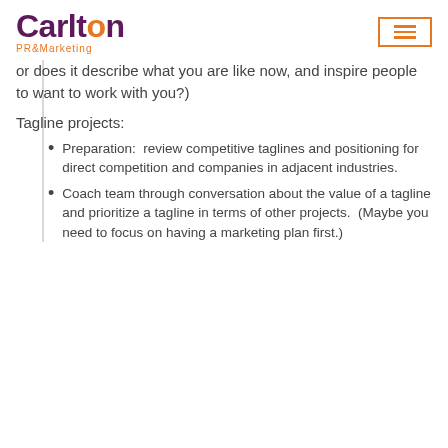Carlton PR & Marketing
or does it describe what you are like now, and inspire people to want to work with you?)
Tagline projects:
Preparation:  review competitive taglines and positioning for direct competition and companies in adjacent industries.
Coach team through conversation about the value of a tagline and prioritize a tagline in terms of other projects.  (Maybe you need to focus on having a marketing plan first.)